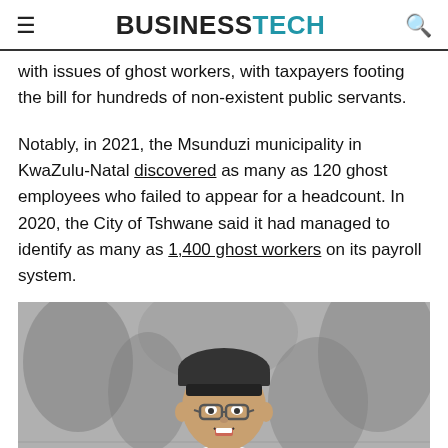BUSINESSTECH
with issues of ghost workers, with taxpayers footing the bill for hundreds of non-existent public servants.
Notably, in 2021, the Msunduzi municipality in KwaZulu-Natal discovered as many as 120 ghost employees who failed to appear for a headcount. In 2020, the City of Tshwane said it had managed to identify as many as 1,400 ghost workers on its payroll system.
[Figure (photo): Grayscale photo of a smiling young woman wearing glasses and a turtleneck sweater, with a blurred mural/graffiti background]